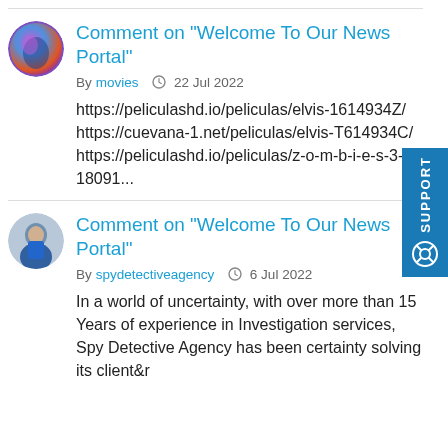Comment on "Welcome To Our News Portal"
By movies  22 Jul 2022
https://peliculashd.io/peliculas/elvis-1614934Z/ https://cuevana-1.net/peliculas/elvis-T614934C/ https://peliculashd.io/peliculas/z-o-m-b-i-e-s-3-18091...
Comment on "Welcome To Our News Portal"
By spydetectiveagency  6 Jul 2022
In a world of uncertainty, with over more than 15 Years of experience in Investigation services, Spy Detective Agency has been certainty solving its client&r